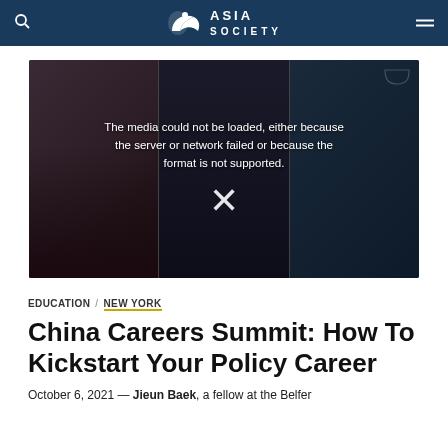ASIA SOCIETY
[Figure (screenshot): Video player showing three panelists in a video call. The media player displays an error message: 'The media could not be loaded, either because the server or network failed or because the format is not supported.' with an X icon. Three people visible: a woman on the left, a man in the center, and a man on the right.]
EDUCATION / NEW YORK
China Careers Summit: How To Kickstart Your Policy Career
October 6, 2021 — Jieun Baek, a fellow at the Belfer